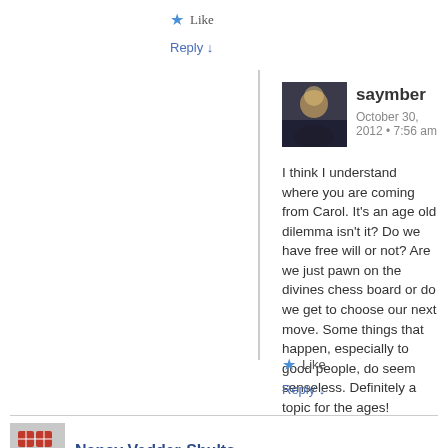★ Like
Reply ↓
saymber
October 30, 2012 • 7:56 am
I think I understand where you are coming from Carol. It's an age old dilemma isn't it? Do we have free will or not? Are we just pawn on the divines chess board or do we get to choose our next move. Some things that happen, especially to good people, do seem senseless. Definitely a topic for the ages!
★ Like
Reply ↓
Nancy Vedder-Shults